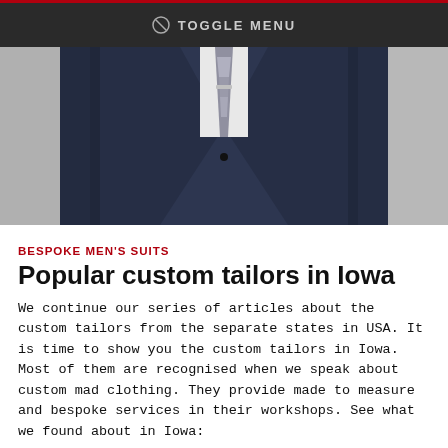TOGGLE MENU
[Figure (photo): Close-up photo of a man wearing a dark navy bespoke suit with a striped tie and tie clip]
BESPOKE MEN'S SUITS
Popular custom tailors in Iowa
We continue our series of articles about the custom tailors from the separate states in USA. It is time to show you the custom tailors in Iowa. Most of them are recognised when we speak about custom mad clothing. They provide made to measure and bespoke services in their workshops. See what we found about in Iowa:
17 SEPTEMBER, 2017
[Figure (photo): Left bottom thumbnail photo of a person in a suit]
[Figure (photo): Right bottom thumbnail photo of a person in a striped suit]